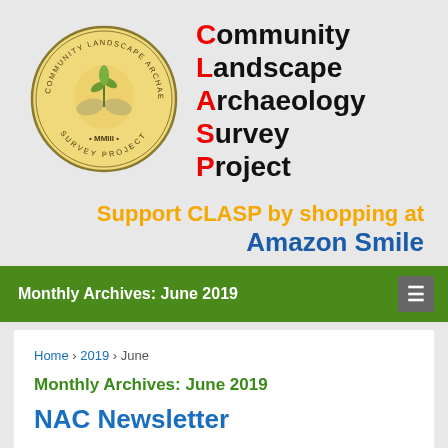[Figure (logo): CLASP circular logo — Community Landscape Archaeology Survey Project, yellow background with hands holding a plant, MMIII date]
Community Landscape Archaeology Survey Project
Support CLASP by shopping at Amazon Smile
Monthly Archives: June 2019
Home › 2019 › June
Monthly Archives: June 2019
NAC Newsletter